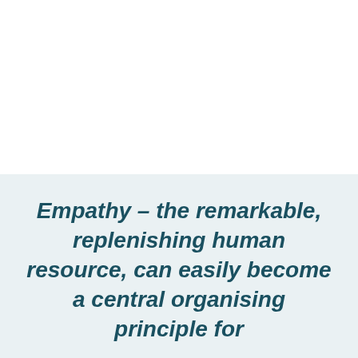Empathy – the remarkable, replenishing human resource, can easily become a central organising principle for